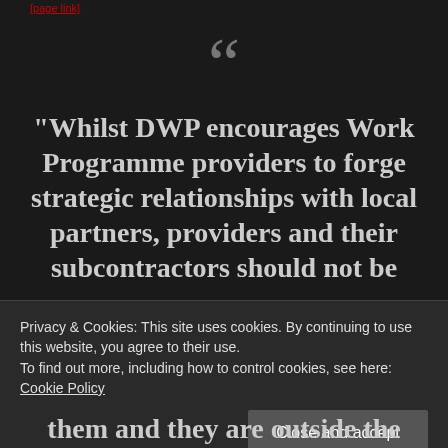[link text cut off]
“Whilst DWP encourages Work Programme providers to forge strategic relationships with local partners, providers and their subcontractors should not be
Privacy & Cookies: This site uses cookies. By continuing to use this website, you agree to their use.
To find out more, including how to control cookies, see here: Cookie Policy
Close and accept
them and they are outside the